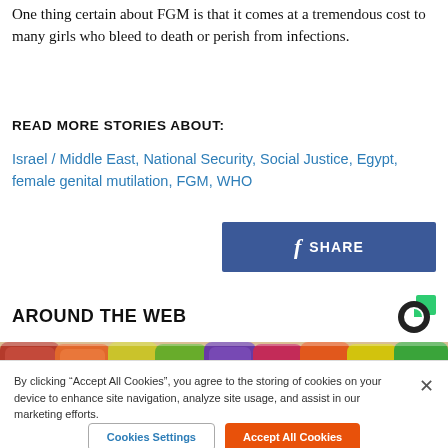One thing certain about FGM is that it comes at a tremendous cost to many girls who bleed to death or perish from infections.
READ MORE STORIES ABOUT:
Israel / Middle East, National Security, Social Justice, Egypt, female genital mutilation, FGM, WHO
[Figure (other): Facebook Share button with f icon and SHARE text on blue background]
AROUND THE WEB
[Figure (photo): Colorful sugar-coated candy pieces (gummy/jelly candies) in various colors]
By clicking “Accept All Cookies”, you agree to the storing of cookies on your device to enhance site navigation, analyze site usage, and assist in our marketing efforts.
Cookies Settings   Accept All Cookies